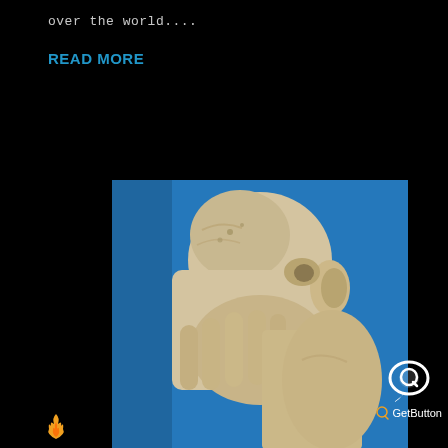over the world....
READ MORE
[Figure (photo): Close-up photograph of a white marble statue of a person bending forward, covering their face with their hand, against a bright blue sky background. The statue shows detailed sculptural work of an elderly or distressed figure.]
[Figure (other): GetButton chat widget icon — white speech bubble icon with a circular Q symbol, and text 'GetButton' with a small Q logo below it.]